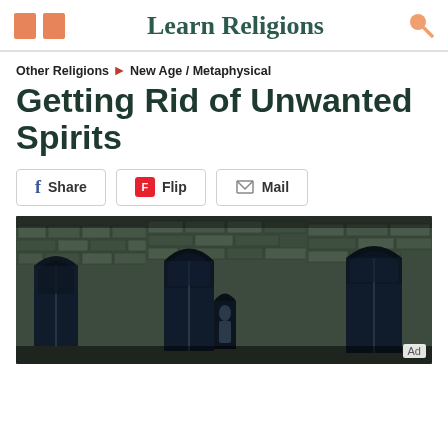Learn Religions
Other Religions > New Age / Metaphysical
Getting Rid of Unwanted Spirits
Share | Flip | Mail
[Figure (photo): A dark, moody photo of a Gothic stone church exterior at night with arched windows and a figure standing in the doorway]